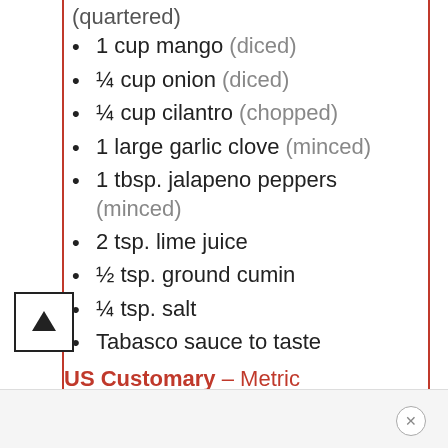(quartered)
1 cup mango (diced)
¼ cup onion (diced)
¼ cup cilantro (chopped)
1 large garlic clove (minced)
1 tbsp. jalapeno peppers (minced)
2 tsp. lime juice
½ tsp. ground cumin
¼ tsp. salt
Tabasco sauce to taste
US Customary – Metric